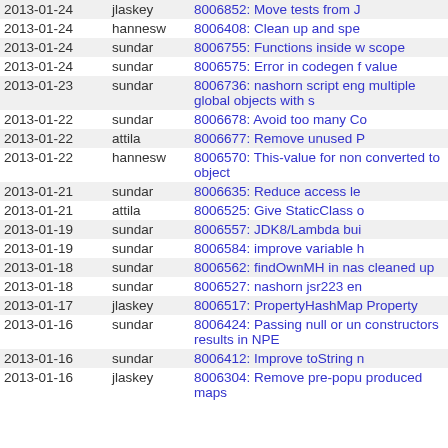| Date | Author | Description |
| --- | --- | --- |
| 2013-01-24 | jlaskey | 8006852: Move tests from J |
| 2013-01-24 | hannesw | 8006408: Clean up and spe |
| 2013-01-24 | sundar | 8006755: Functions inside w scope |
| 2013-01-24 | sundar | 8006575: Error in codegen f value |
| 2013-01-23 | sundar | 8006736: nashorn script eng multiple global objects with s |
| 2013-01-22 | sundar | 8006678: Avoid too many Co |
| 2013-01-22 | attila | 8006677: Remove unused P |
| 2013-01-22 | hannesw | 8006570: This-value for non converted to object |
| 2013-01-21 | sundar | 8006635: Reduce access le |
| 2013-01-21 | attila | 8006525: Give StaticClass o |
| 2013-01-19 | sundar | 8006557: JDK8/Lambda bui |
| 2013-01-19 | sundar | 8006584: improve variable h |
| 2013-01-18 | sundar | 8006562: findOwnMH in nas cleaned up |
| 2013-01-18 | sundar | 8006527: nashorn jsr223 en |
| 2013-01-17 | jlaskey | 8006517: PropertyHashMap Property |
| 2013-01-16 | sundar | 8006424: Passing null or un constructors results in NPE |
| 2013-01-16 | sundar | 8006412: Improve toString n |
| 2013-01-16 | jlaskey | 8006304: Remove pre-popu produced maps |